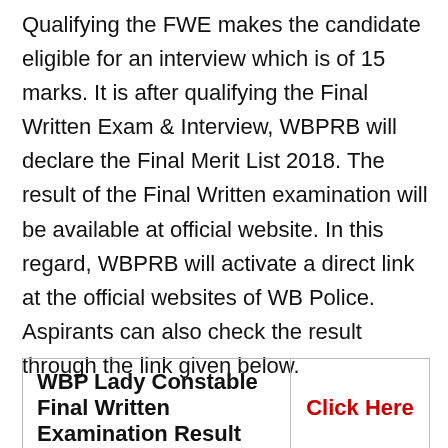Qualifying the FWE makes the candidate eligible for an interview which is of 15 marks. It is after qualifying the Final Written Exam & Interview, WBPRB will declare the Final Merit List 2018. The result of the Final Written examination will be available at official website. In this regard, WBPRB will activate a direct link at the official websites of WB Police. Aspirants can also check the result through the link given below.
| WBP Lady Constable Final Written Examination Result | Click Here |
| --- | --- |